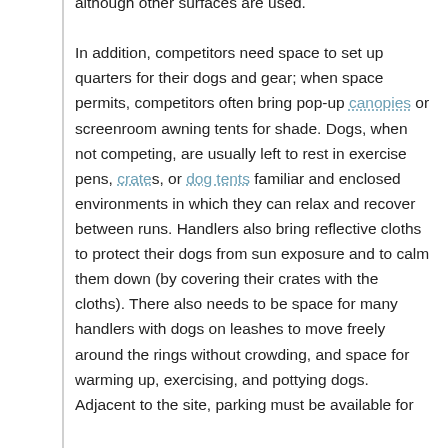although other surfaces are used. In addition, competitors need space to set up quarters for their dogs and gear; when space permits, competitors often bring pop-up canopies or screenroom awning tents for shade. Dogs, when not competing, are usually left to rest in exercise pens, crates, or dog tents familiar and enclosed environments in which they can relax and recover between runs. Handlers also bring reflective cloths to protect their dogs from sun exposure and to calm them down (by covering their crates with the cloths). There also needs to be space for many handlers with dogs on leashes to move freely around the rings without crowding, and space for warming up, exercising, and pottying dogs. Adjacent to the site, parking must be available for